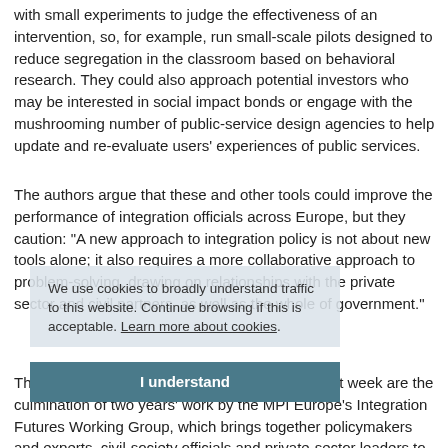with small experiments to judge the effectiveness of an intervention, so, for example, run small-scale pilots designed to reduce segregation in the classroom based on behavioral research. They could also approach potential investors who may be interested in social impact bonds or engage with the mushrooming number of public-service design agencies to help update and re-evaluate users' experiences of public services.
The authors argue that these and other tools could improve the performance of integration officials across Europe, but they caution: "A new approach to integration policy is not about new tools alone; it also requires a more collaborative approach to problem-solving, drawing on relationships with the private sector and civil partners, as well as the whole of government."
The report and two more forthcoming papers next week are the culmination of two years' work by the MPI Europe's Integration Futures Working Group, which brings together policymakers and experts, civil-society officials and private-sector leaders to create a platform for long-term strategic and creative thinking. The Working Group is supported by the Robert Bosch Foundation.